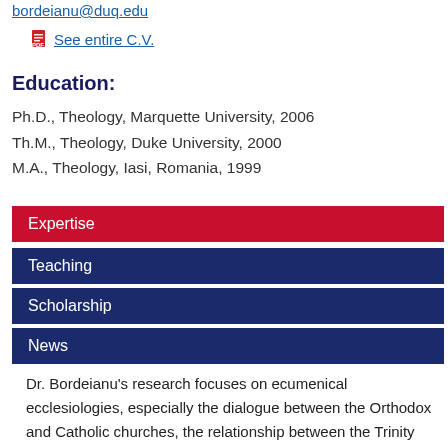bordeianu@duq.edu
See entire C.V.
Education:
Ph.D., Theology, Marquette University, 2006
Th.M., Theology, Duke University, 2000
M.A., Theology, Iasi, Romania, 1999
Expertise
Teaching
Scholarship
News
Dr. Bordeianu's research focuses on ecumenical ecclesiologies, especially the dialogue between the Orthodox and Catholic churches, the relationship between the Trinity and the Church, theology of creation, and environmental issues. He is particularly engaged with the ecclesiology of the Romanian Orthodox theologian Dumitru Staniloae, placing special emphasis on Staniloae's